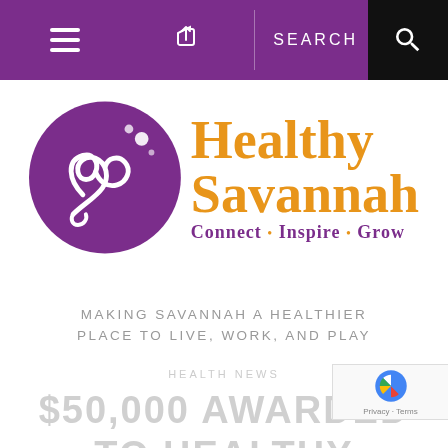Navigation bar with hamburger menu, share icon, SEARCH, and search icon
[Figure (logo): Healthy Savannah logo: purple circle with stylized figure/heart design, orange text 'Healthy Savannah', purple subtitle 'Connect • Inspire • Grow']
MAKING SAVANNAH A HEALTHIER PLACE TO LIVE, WORK, AND PLAY
HEALTH NEWS
$50,000 AWARDED TO HEALTHY SAVANNAH FOR HEALTH + WELLNESS TRANSFORMATION IN